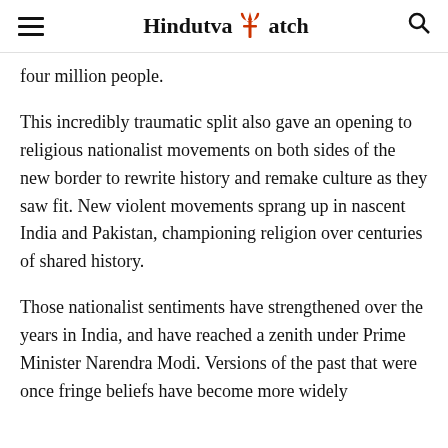Hindutva Watch
four million people.
This incredibly traumatic split also gave an opening to religious nationalist movements on both sides of the new border to rewrite history and remake culture as they saw fit. New violent movements sprang up in nascent India and Pakistan, championing religion over centuries of shared history.
Those nationalist sentiments have strengthened over the years in India, and have reached a zenith under Prime Minister Narendra Modi. Versions of the past that were once fringe beliefs have become more widely